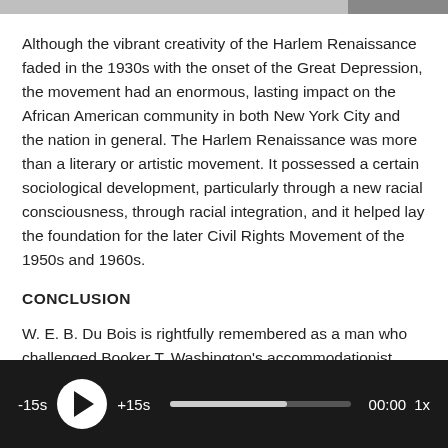Although the vibrant creativity of the Harlem Renaissance faded in the 1930s with the onset of the Great Depression, the movement had an enormous, lasting impact on the African American community in both New York City and the nation in general. The Harlem Renaissance was more than a literary or artistic movement. It possessed a certain sociological development, particularly through a new racial consciousness, through racial integration, and it helped lay the foundation for the later Civil Rights Movement of the 1950s and 1960s.
CONCLUSION
W. E. B. Du Bois is rightfully remembered as a man who challenged Booker T. Washington's accommodationist attitude
[Figure (other): Audio player bar with play button, -15s and +15s skip controls, progress bar showing partial playback, time display 00:00, and speed control 1x]